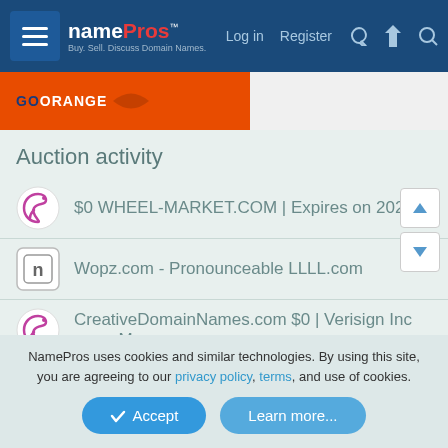namePros — Log in  Register
[Figure (screenshot): Orange advertisement banner with GOORANGE logo]
Auction activity
$0 WHEEL-MARKET.COM | Expires on 2023
Wopz.com - Pronounceable LLLL.com
CreativeDomainNames.com $0 | Verisign Inc owns M...
metahup.com
fashionistaweek.com
NamePros uses cookies and similar technologies. By using this site, you are agreeing to our privacy policy, terms, and use of cookies.
Accept   Learn more...